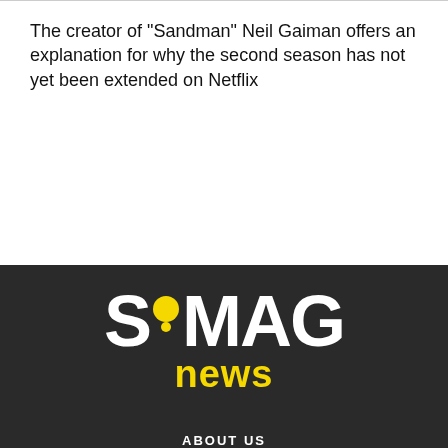The creator of "Sandman" Neil Gaiman offers an explanation for why the second season has not yet been extended on Netflix
[Figure (logo): SoMAG news logo — white bold text 'S', yellow circle dot resembling a speech bubble, 'MAG' in white bold text, and 'news' in yellow bold text below, all on a dark/black background]
ABOUT US